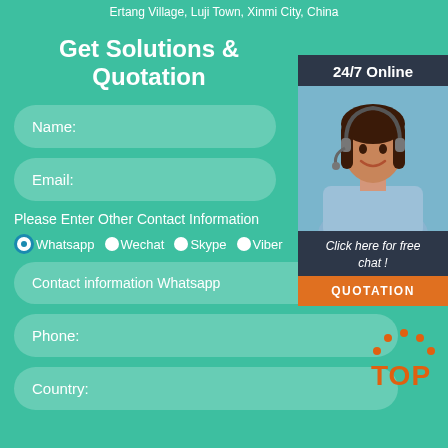Ertang Village, Luji Town, Xinmi City, China
Get Solutions & Quotation
Name:
Email:
Please Enter Other Contact Information
Whatsapp
Wechat
Skype
Viber
Contact information Whatsapp
Phone:
Country:
[Figure (photo): Customer service representative with headset, smiling, overlaid panel with 24/7 Online label, free chat and QUOTATION button]
[Figure (logo): Orange TOP logo with dots arranged in arc above the letters]